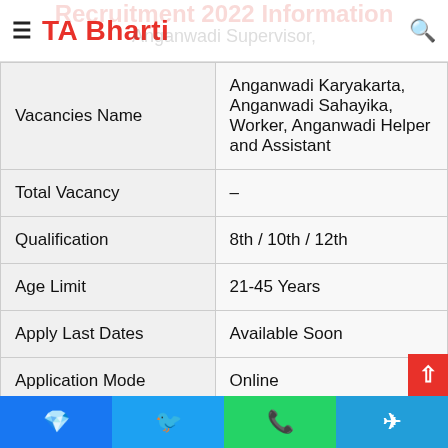TA Bharti
Recruitment 2022 Information
Anganwadi Supervisor,
| Field | Details |
| --- | --- |
| Vacancies Name | Anganwadi Supervisor, Anganwadi Karyakarta, Anganwadi Sahayika, Worker, Anganwadi Helper and Assistant |
| Total Vacancy | – |
| Qualification | 8th / 10th / 12th |
| Age Limit | 21-45 Years |
| Apply Last Dates | Available Soon |
| Application Mode | Online |
| Job Location | Kaithal – Haryana |